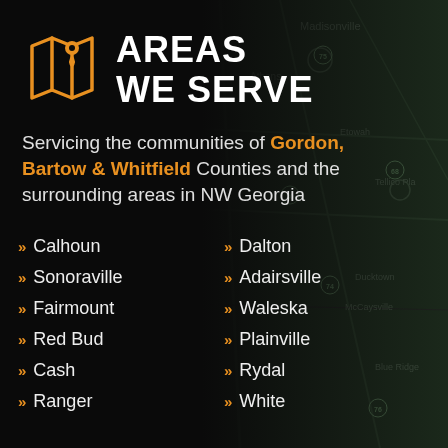[Figure (map): Background map of NW Georgia area showing cities like Athens, Madisonville, Etowah, Tellico Plains, Ducktown, McCaysville, Blue Ridge]
AREAS WE SERVE
Servicing the communities of Gordon, Bartow & Whitfield Counties and the surrounding areas in NW Georgia
Calhoun
Sonoraville
Fairmount
Red Bud
Cash
Ranger
Dalton
Adairsville
Waleska
Plainville
Rydal
White